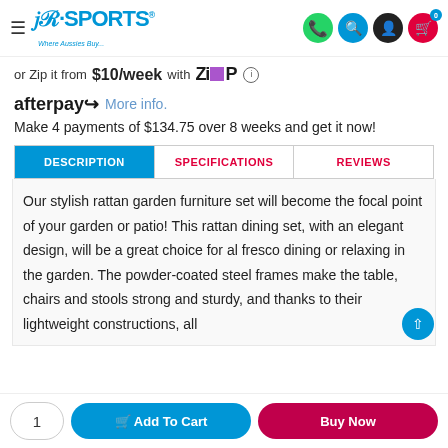HR Sports – Where Aussies Buy...
or Zip it from $10/week with Zip ⓘ
afterpay More info.
Make 4 payments of $134.75 over 8 weeks and get it now!
DESCRIPTION | SPECIFICATIONS | REVIEWS
Our stylish rattan garden furniture set will become the focal point of your garden or patio! This rattan dining set, with an elegant design, will be a great choice for al fresco dining or relaxing in the garden. The powder-coated steel frames make the table, chairs and stools strong and sturdy, and thanks to their lightweight constructions, all
1  🛒 Add To Cart  Buy Now